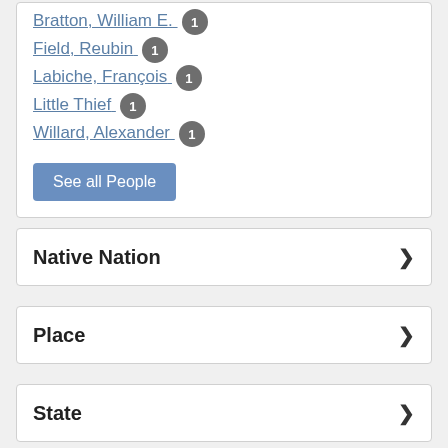Bratton, William E. 1
Field, Reubin 1
Labiche, François 1
Little Thief 1
Willard, Alexander 1
See all People
Native Nation
Place
State
S...